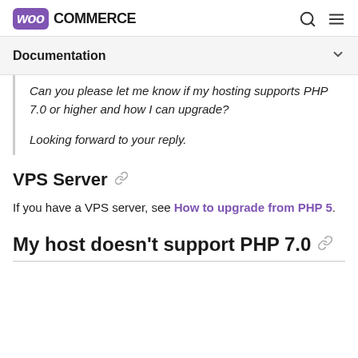WooCommerce
Documentation
Can you please let me know if my hosting supports PHP 7.0 or higher and how I can upgrade?

Looking forward to your reply.
VPS Server
If you have a VPS server, see How to upgrade from PHP 5.
My host doesn't support PHP 7.0